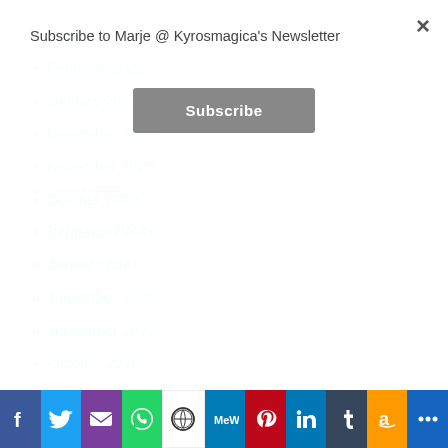Subscribe to Marje @ Kyrosmagica's Newsletter
March 2021
February 2021
January 2021
December 2020
November 2020
October 2020
September 2020
August 2020
July 2020
June 2020
[Figure (infographic): Social sharing bar with icons: Facebook, Twitter, Email, WhatsApp, WordPress, MeWe, Pinterest, LinkedIn, Tumblr, Amazon, More]